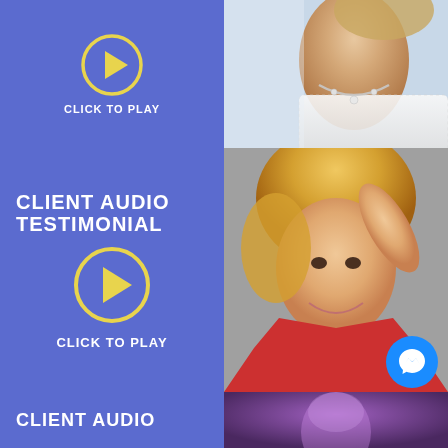[Figure (other): Blue panel with yellow play button circle and 'CLICK TO PLAY' text, beside a photo of a bride wearing a white strapless dress and diamond necklace]
[Figure (other): Blue panel with 'CLIENT AUDIO TESTIMONIAL' heading, yellow play button circle, and 'CLICK TO PLAY' text, beside a photo of a smiling blonde woman in a red jacket]
[Figure (other): Blue panel with 'CLIENT AUDIO' text beginning, beside a purple-toned photo, with Facebook Messenger bubble icon overlaid in bottom right]